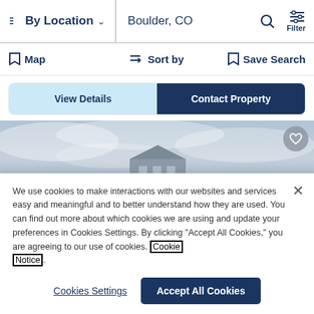By Location  Boulder, CO  Filter
Map  Sort by  Save Search
View Details  Contact Property
[Figure (photo): Partial view of a building against a cloudy sky, with a heart/favorite button in the top-right corner.]
We use cookies to make interactions with our websites and services easy and meaningful and to better understand how they are used. You can find out more about which cookies we are using and update your preferences in Cookies Settings. By clicking "Accept All Cookies," you are agreeing to our use of cookies. Cookie Notice.
Cookies Settings  Accept All Cookies